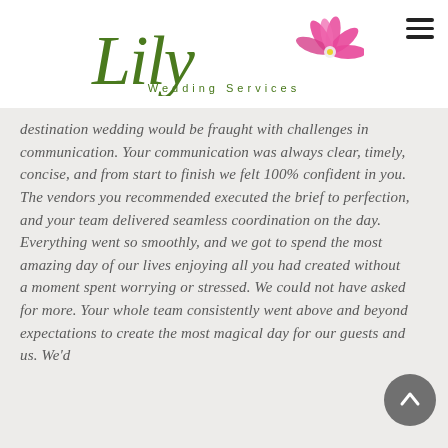[Figure (logo): Lily Wedding Services logo with cursive green 'Lily' text and pink flower illustration, with 'Wedding Services' in green spaced capitals below]
destination wedding would be fraught with challenges in communication. Your communication was always clear, timely, concise, and from start to finish we felt 100% confident in you. The vendors you recommended executed the brief to perfection, and your team delivered seamless coordination on the day. Everything went so smoothly, and we got to spend the most amazing day of our lives enjoying all you had created without a moment spent worrying or stressed. We could not have asked for more. Your whole team consistently went above and beyond expectations to create the most magical day for our guests and us. We'd